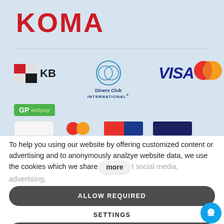[Figure (logo): KOMA brand logo in bold red text]
[Figure (infographic): Payment method logos including KB, Diners Club International, VISA, Mastercard, GP webpay, and partially visible logos in bottom row]
To help you using our website by offering customized content or advertising and to anonymously analzye website data, we use the cookies which we share  more  social media, advertising,
ALLOW REQUIRED
SETTINGS
ALLOW ALL